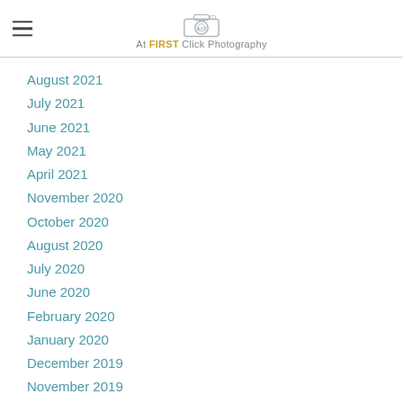At FIRST Click Photography
August 2021
July 2021
June 2021
May 2021
April 2021
November 2020
October 2020
August 2020
July 2020
June 2020
February 2020
January 2020
December 2019
November 2019
October 2019
September 2019
August 2019